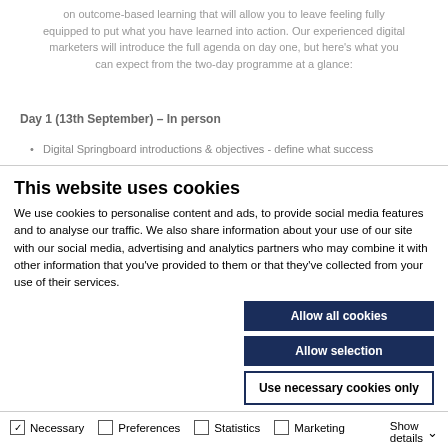on outcome-based learning that will allow you to leave feeling fully equipped to put what you have learned into action. Our experienced digital marketers will introduce the full agenda on day one, but here's what you can expect from the two-day programme at a glance:
Day 1 (13th September) – In person
Digital Springboard introductions & objectives - define what success
This website uses cookies
We use cookies to personalise content and ads, to provide social media features and to analyse our traffic. We also share information about your use of our site with our social media, advertising and analytics partners who may combine it with other information that you've provided to them or that they've collected from your use of their services.
Allow all cookies
Allow selection
Use necessary cookies only
Necessary   Preferences   Statistics   Marketing   Show details